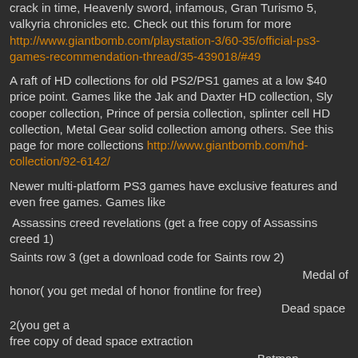crack in time, Heavenly sword, infamous, Gran Turismo 5, valkyria chronicles etc. Check out this forum for more http://www.giantbomb.com/playstation-3/60-35/official-ps3-games-recommendation-thread/35-439018/#49
A raft of HD collections for old PS2/PS1 games at a low $40 price point. Games like the Jak and Daxter HD collection, Sly cooper collection, Prince of persia collection, splinter cell HD collection, Metal Gear solid collection among others. See this page for more collections http://www.giantbomb.com/hd-collection/92-6142/
Newer multi-platform PS3 games have exclusive features and even free games. Games like
Assassins creed revelations (get a free copy of Assassins creed 1)
Saints row 3 (get a download code for Saints row 2)
Medal of honor( you get medal of honor frontline for free)
Dead space 2(you get a free copy of dead space extraction
Batman Arkham Asylum  Exclusive playable character, The Joker, for challenge rooms